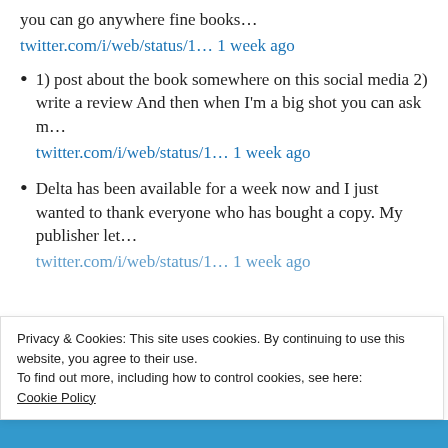you can go anywhere fine books…
twitter.com/i/web/status/1… 1 week ago
1) post about the book somewhere on this social media 2) write a review And then when I'm a big shot you can ask m…
twitter.com/i/web/status/1… 1 week ago
Delta has been available for a week now and I just wanted to thank everyone who has bought a copy. My publisher let…
twitter.com/i/web/status/1… 1 week ago
Privacy & Cookies: This site uses cookies. By continuing to use this website, you agree to their use.
To find out more, including how to control cookies, see here:
Cookie Policy